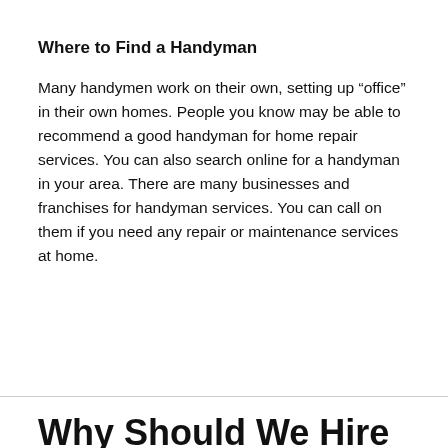Where to Find a Handyman
Many handymen work on their own, setting up “office” in their own homes. People you know may be able to recommend a good handyman for home repair services. You can also search online for a handyman in your area. There are many businesses and franchises for handyman services. You can call on them if you need any repair or maintenance services at home.
Why Should We Hire Family Law Practice